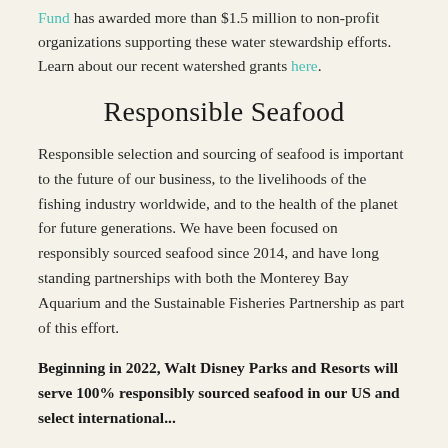Fund has awarded more than $1.5 million to non-profit organizations supporting these water stewardship efforts. Learn about our recent watershed grants here.
Responsible Seafood
Responsible selection and sourcing of seafood is important to the future of our business, to the livelihoods of the fishing industry worldwide, and to the health of the planet for future generations. We have been focused on responsibly sourced seafood since 2014, and have long standing partnerships with both the Monterey Bay Aquarium and the Sustainable Fisheries Partnership as part of this effort.
Beginning in 2022, Walt Disney Parks and Resorts will serve 100% responsibly sourced seafood in our US and select international...